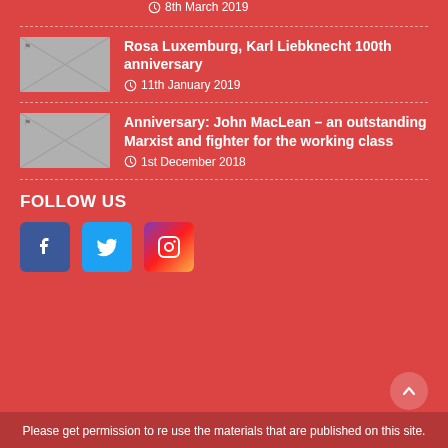8th March 2019
Rosa Luxemburg, Karl Liebknecht 100th anniversary
11th January 2019
Anniversary: John MacLean – an outstanding Marxist and fighter for the working class
1st December 2018
FOLLOW US
[Figure (other): Facebook, Twitter, Instagram social media icons]
Please get permission to re use the materials that are published on this site.